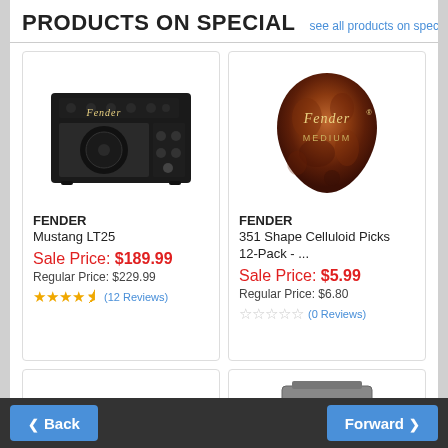PRODUCTS ON SPECIAL  see all products on special...
[Figure (photo): Fender Mustang LT25 guitar amplifier, black rectangular amp]
FENDER
Mustang LT25
Sale Price: $189.99
Regular Price: $229.99
★★★★½ (12 Reviews)
[Figure (photo): Fender 351 Shape Celluloid guitar pick, tortoiseshell pattern, medium gauge]
FENDER
351 Shape Celluloid Picks 12-Pack - ...
Sale Price: $5.99
Regular Price: $6.80
☆☆☆☆☆ (0 Reviews)
[Figure (photo): Headphones, beige/black colored]
[Figure (photo): Gray electronic device, likely a UPS or power unit with display]
Back   Forward